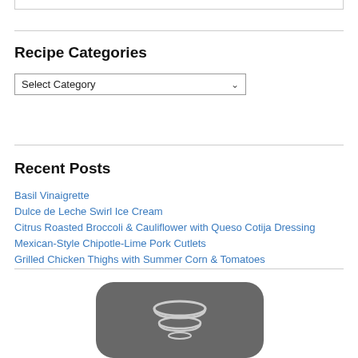Recipe Categories
Select Category
Recent Posts
Basil Vinaigrette
Dulce de Leche Swirl Ice Cream
Citrus Roasted Broccoli & Cauliflower with Queso Cotija Dressing
Mexican-Style Chipotle-Lime Pork Cutlets
Grilled Chicken Thighs with Summer Corn & Tomatoes
[Figure (logo): Dark rounded-rectangle icon with white stacked bowls illustration]